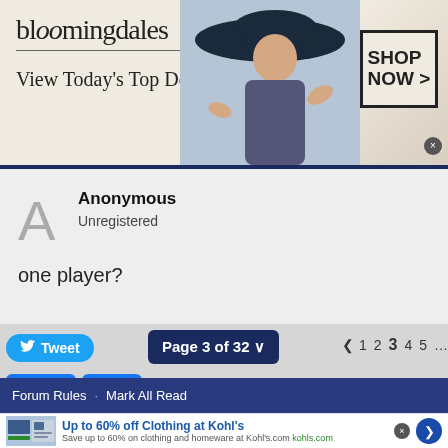[Figure (screenshot): Bloomingdale's advertisement banner: 'View Today's Top Deals!' with a model in a blue hat and 'SHOP NOW >' button]
Anonymous
Unregistered
one player?
Tweet
Page 3 of 32
< 1 2 3 4 5 ... 31 32 >
Like   Share
Hop To
BOTC MAIN FORUM
Forum Rules · Mark All Read
[Figure (screenshot): Kohl's advertisement: 'Up to 60% off Clothing at Kohl's. Save up to 60% on clothing and homeware at Kohl's.com. kohls.com']